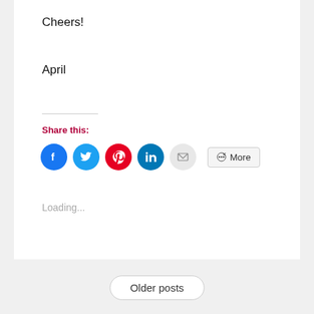Cheers!
April
Share this:
[Figure (infographic): Social share buttons: Facebook (blue circle), Twitter (light blue circle), Pinterest (red circle), LinkedIn (teal circle), Email (light grey circle), and a More button with share icon]
Loading...
Older posts